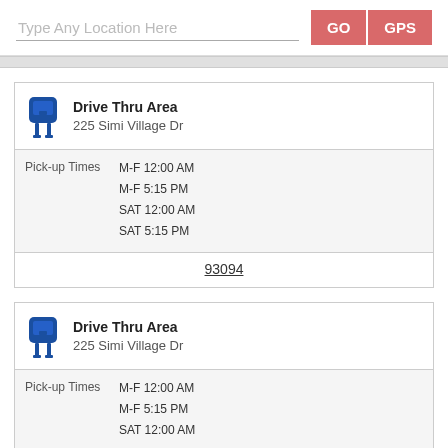Type Any Location Here
GO
GPS
Drive Thru Area
225 Simi Village Dr
Pick-up Times: M-F 12:00 AM, M-F 5:15 PM, SAT 12:00 AM, SAT 5:15 PM
93094
Drive Thru Area
225 Simi Village Dr
Pick-up Times: M-F 12:00 AM, M-F 5:15 PM, SAT 12:00 AM